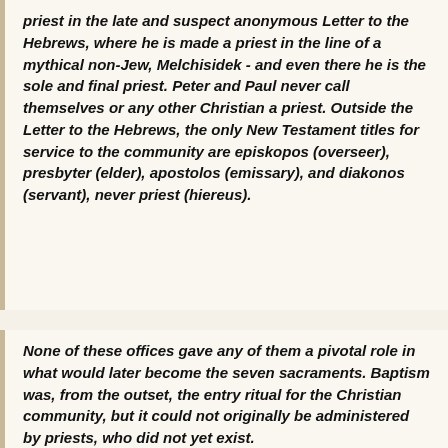priest in the late and suspect anonymous Letter to the Hebrews, where he is made a priest in the line of a mythical non-Jew, Melchisidek - and even there he is the sole and final priest. Peter and Paul never call themselves or any other Christian a priest. Outside the Letter to the Hebrews, the only New Testament titles for service to the community are episkopos (overseer), presbyter (elder), apostolos (emissary), and diakonos (servant), never priest (hiereus).
None of these offices gave any of them a pivotal role in what would later become the seven sacraments. Baptism was, from the outset, the entry ritual for the Christian community, but it could not originally be administered by priests, who did not yet exist.